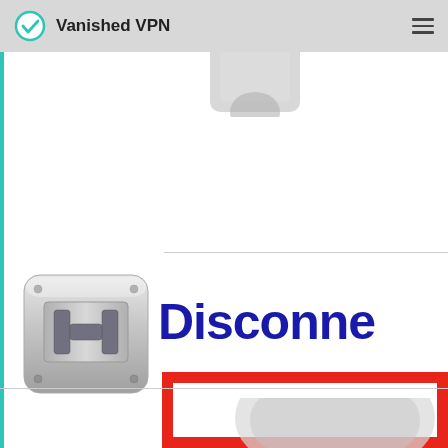[Figure (screenshot): Vanished VPN app navigation bar with teal checkmark logo, 'Vanished VPN' text, and hamburger menu icon on grey background]
[Figure (screenshot): VPN application screenshot showing a metallic server/VPN icon on the left and large bold dark blue text reading 'Disconne' (truncated) on the right, with a red rectangular border overlay at the bottom, and partial circular avatar visible at the bottom right]